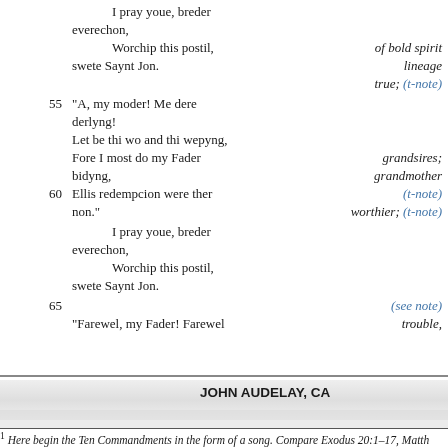I pray youe, breder everechon,
Worchip this postil,    of bold spirit
swete Saynt Jon.    lineage
true; (t-note)
55    "A, my moder! Me dere derlyng!
Let be thi wo and thi wepyng,
Fore I most do my Fader bidyng,    grandsires; grandmother
60    Ellis redempcion were ther non."    (t-note) worthier; (t-note)
I pray youe, breder everechon,
Worchip this postil, swete Saynt Jon.
65    (see note)
"Farewel, my Fader! Farewel    trouble,
JOHN AUDELAY, CA
1 Here begin the Ten Commandments in the form of a song. Compare Exodus 20:1–17, Matth